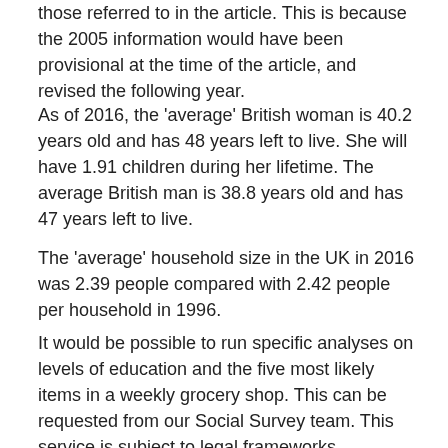those referred to in the article. This is because the 2005 information would have been provisional at the time of the article, and revised the following year.
As of 2016, the 'average' British woman is 40.2 years old and has 48 years left to live. She will have 1.91 children during her lifetime. The average British man is 38.8 years old and has 47 years left to live.
The 'average' household size in the UK in 2016 was 2.39 people compared with 2.42 people per household in 1996.
It would be possible to run specific analyses on levels of education and the five most likely items in a weekly grocery shop. This can be requested from our Social Survey team. This service is subject to legal frameworks, disclosure control, resources and agreements of costs, where appropriate. To discuss your requirements and request an analysis please